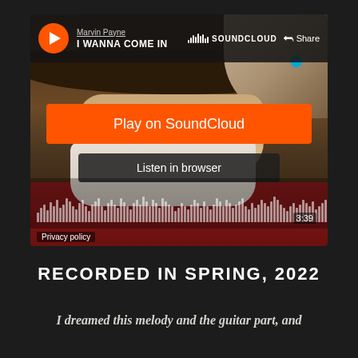[Figure (screenshot): SoundCloud embedded player showing Marvin Payne - I WANNA COME IN. Orange play button on left, SoundCloud logo top right, Share button, large orange Play on SoundCloud button, Listen in browser button, audio waveform visualization at bottom showing 3:39 duration, Privacy policy link. Background shows a photo of a man in a cowboy hat.]
RECORDED IN SPRING, 2022
I dreamed this melody and the guitar part, and